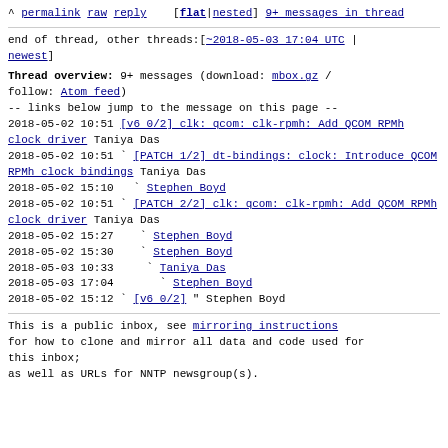^ permalink raw reply   [flat|nested] 9+ messages in thread
end of thread, other threads:[~2018-05-03 17:04 UTC | newest]
Thread overview: 9+ messages (download: mbox.gz / follow: Atom feed)
-- links below jump to the message on this page --
2018-05-02 10:51 [v6 0/2] clk: qcom: clk-rpmh: Add QCOM RPMh clock driver Taniya Das
2018-05-02 10:51 ` [PATCH 1/2] dt-bindings: clock: Introduce QCOM RPMh clock bindings Taniya Das
2018-05-02 15:10   ` Stephen Boyd
2018-05-02 10:51 ` [PATCH 2/2] clk: qcom: clk-rpmh: Add QCOM RPMh clock driver Taniya Das
2018-05-02 15:27   ` Stephen Boyd
2018-05-02 15:30   ` Stephen Boyd
2018-05-03 10:33     ` Taniya Das
2018-05-03 17:04       ` Stephen Boyd
2018-05-02 15:12 ` [v6 0/2] " Stephen Boyd
This is a public inbox, see mirroring instructions
for how to clone and mirror all data and code used for this inbox;
as well as URLs for NNTP newsgroup(s).